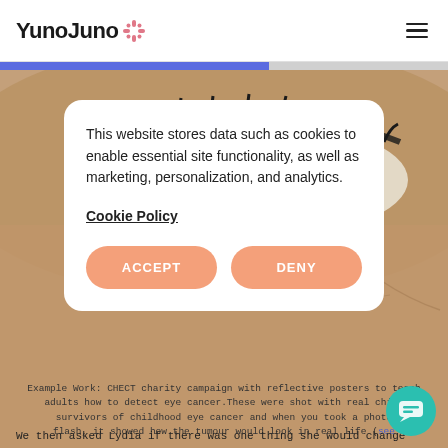YunoJuno
[Figure (photo): Close-up photo of a human eye with warm skin tones around it, serving as a background image for a charity campaign about eye cancer detection]
This website stores data such as cookies to enable essential site functionality, as well as marketing, personalization, and analytics.
Cookie Policy
ACCEPT
DENY
Example Work: CHECT charity campaign with reflective posters to teach adults how to detect eye cancer.These were shot with real child survivors of childhood eye cancer and when you took a photo flash, it showed how the tumour would look in real life (see
We then asked Lydia if there was one thing she would change